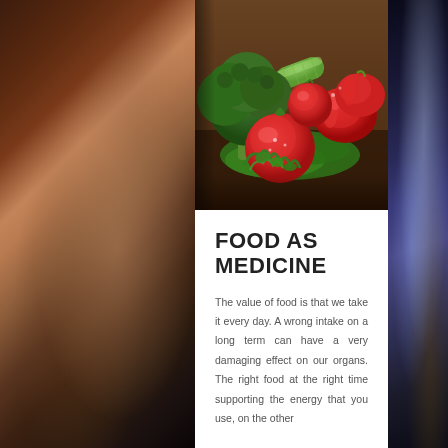[Figure (photo): Photograph of fresh vegetables including broccoli, tomatoes, cucumber, red bell peppers, and parsley arranged on a wooden surface]
FOOD AS MEDICINE
The value of food is that we take it every day. A wrong intake on a long term can have a very damaging effect on our organs. The right food at the right time supporting the energy that you use, on the other